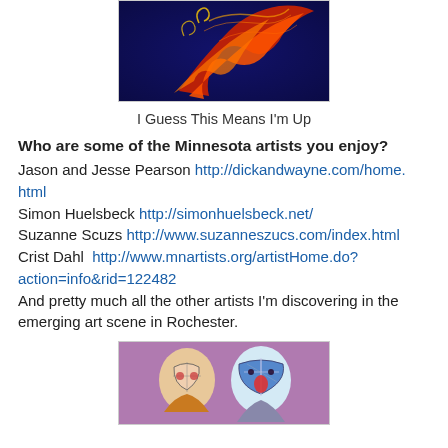[Figure (illustration): Painting with swirling red and orange forms against a dark blue background]
I Guess This Means I'm Up
Who are some of the Minnesota artists you enjoy?
Jason and Jesse Pearson http://dickandwayne.com/home.html
Simon Huelsbeck http://simonhuelsbeck.net/
Suzanne Scuzs http://www.suzanneszucs.com/index.html
Crist Dahl  http://www.mnartists.org/artistHome.do?action=info&rid=122482
And pretty much all the other artists I'm discovering in the emerging art scene in Rochester.
[Figure (illustration): Painting of two figures wearing theatrical masks on a purple background]